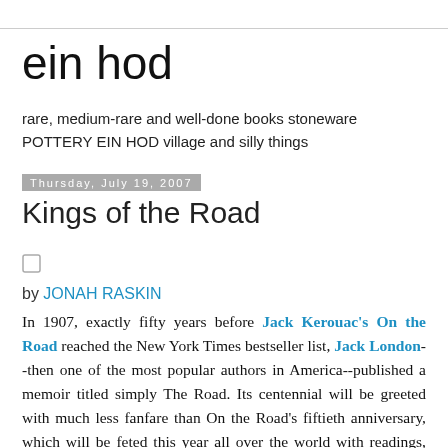ein hod
rare, medium-rare and well-done books stoneware POTTERY EIN HOD village and silly things
Thursday, July 19, 2007
Kings of the Road
by JONAH RASKIN
In 1907, exactly fifty years before Jack Kerouac's On the Road reached the New York Times bestseller list, Jack London--then one of the most popular authors in America--published a memoir titled simply The Road. Its centennial will be greeted with much less fanfare than On the Road's fiftieth anniversary, which will be feted this year all over the world with readings, conferences and a new Viking reissue of the book. The Road reflects its author's highly developed class consciousness and comes from an era when American